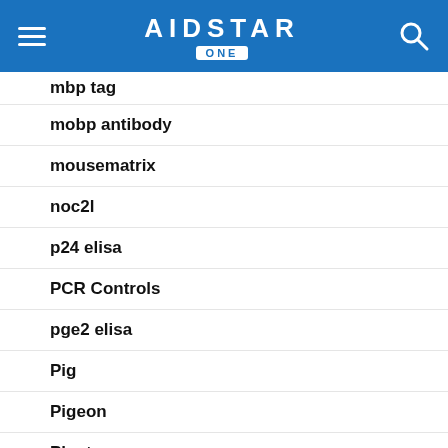AIDSTAR ONE
mbp tag
mobp antibody
mousematrix
noc2l
p24 elisa
PCR Controls
pge2 elisa
Pig
Pigeon
Plant
plasmid
Plate